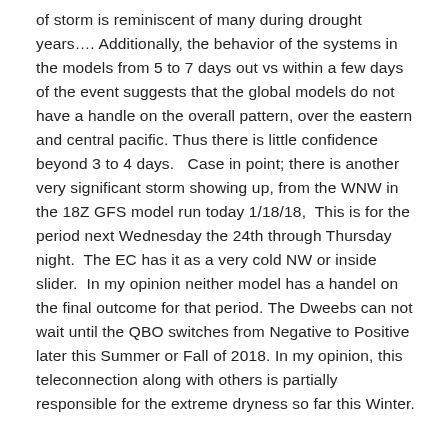of storm is reminiscent of many during drought years…. Additionally, the behavior of the systems in the models from 5 to 7 days out vs within a few days of the event suggests that the global models do not have a handle on the overall pattern, over the eastern and central pacific. Thus there is little confidence beyond 3 to 4 days.   Case in point; there is another very significant storm showing up, from the WNW in the 18Z GFS model run today 1/18/18,  This is for the period next Wednesday the 24th through Thursday night.  The EC has it as a very cold NW or inside slider.  In my opinion neither model has a handel on the final outcome for that period. The Dweebs can not wait until the QBO switches from Negative to Positive later this Summer or Fall of 2018. In my opinion, this teleconnection along with others is partially responsible for the extreme dryness so far this Winter.